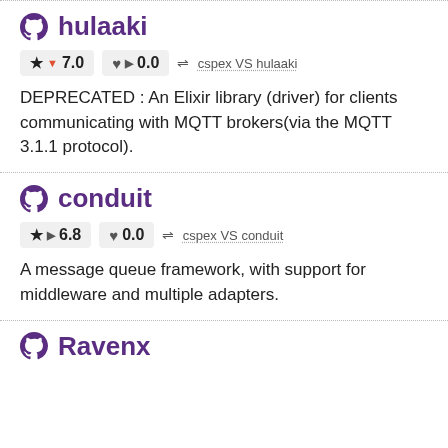hulaaki
★ ▼ 7.0   ♥ ▶ 0.0   ⇌ cspex VS hulaaki
DEPRECATED : An Elixir library (driver) for clients communicating with MQTT brokers(via the MQTT 3.1.1 protocol).
conduit
★ ▶ 6.8   ♥ 0.0   ⇌ cspex VS conduit
A message queue framework, with support for middleware and multiple adapters.
Ravenx